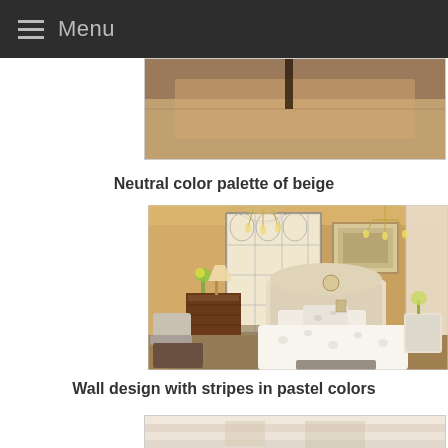Menu
[Figure (photo): Partial top view of a room with a decorative patterned rug, cut off at top of page]
Neutral color palette of beige
[Figure (photo): Elegant bedroom with beige/neutral color palette, featuring an upholstered headboard, white bedding with floral pattern, wood dresser, chandelier, large decorative windows, and warm beige walls]
Wall design with stripes in pastel colors
[Figure (photo): Partial view of room with wall stripes in pastel colors, cut off at bottom of page]